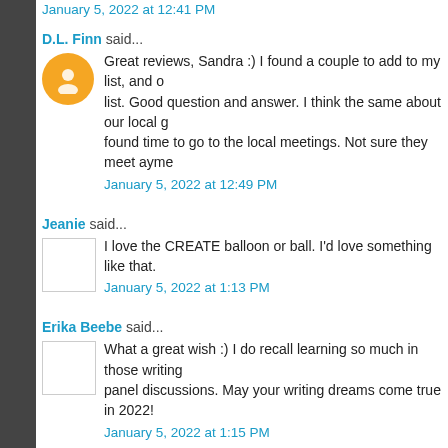January 5, 2022 at 12:41 PM
D.L. Finn said...
Great reviews, Sandra :) I found a couple to add to my list, and o... list. Good question and answer. I think the same about our local g... found time to go to the local meetings. Not sure they meet anym...
January 5, 2022 at 12:49 PM
Jeanie said...
I love the CREATE balloon or ball. I'd love something like that.
January 5, 2022 at 1:13 PM
Erika Beebe said...
What a great wish :) I do recall learning so much in those writing... panel discussions. May your writing dreams come true in 2022!
January 5, 2022 at 1:15 PM
Lee Lowery said...
Great line up of books!
I agree - writing groups and conferences are a great way to conn... lifeline for me many a time. I've missed not being able to attend i... these past two years.